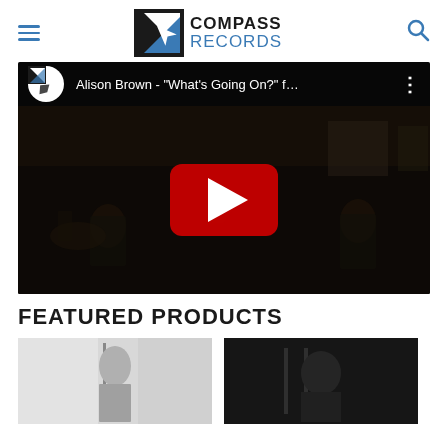Compass Records
[Figure (screenshot): YouTube video embed showing Alison Brown - "What's Going On?" f... with a dark studio performance scene and red YouTube play button]
FEATURED PRODUCTS
[Figure (photo): Featured product thumbnail - black and white photo (left)]
[Figure (photo): Featured product thumbnail - dark photo (right)]